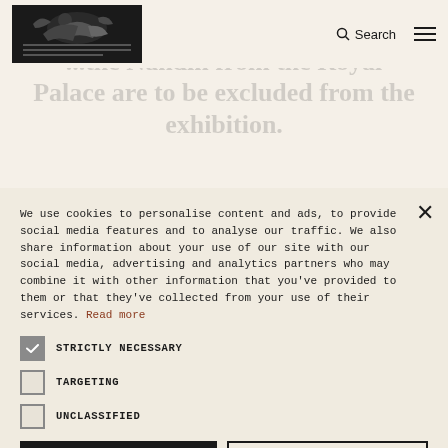Search [menu]
...hereby the Seated Figure... ...the Nandin from the Royal Palace are to be excluded from the exhibition.
We use cookies to personalise content and ads, to provide social media features and to analyse our traffic. We also share information about your use of our site with our social media, advertising and analytics partners who may combine it with other information that you've provided to them or that they've collected from your use of their services. Read more
STRICTLY NECESSARY
TARGETING
UNCLASSIFIED
ACCEPT ALL
DECLINE ALL
SHOW DETAILS